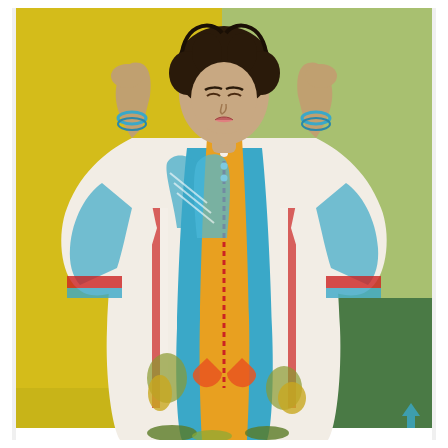[Figure (photo): A young woman with dark curly hair poses with hands raised to her head, wearing a colorful printed Pakistani/South Asian outfit (kurti/dress) featuring teal/blue, yellow, white, and multicolored patterns with floral and decorative motifs. The background is split into sections of bright yellow, light green, and dark green. A small teal arrow/chevron icon is visible in the bottom right corner.]